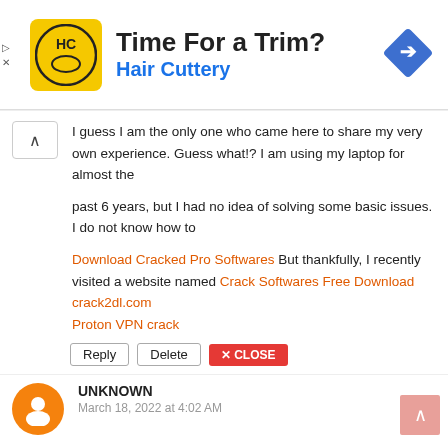[Figure (screenshot): Ad banner for Hair Cuttery with logo, title 'Time For a Trim?', subtitle 'Hair Cuttery', and a blue diamond navigation arrow icon on the right.]
I guess I am the only one who came here to share my very own experience. Guess what!? I am using my laptop for almost the

past 6 years, but I had no idea of solving some basic issues. I do not know how to

Download Cracked Pro Softwares But thankfully, I recently visited a website named Crack Softwares Free Download
crack2dl.com
Proton VPN crack
Reply   Delete   ✕ CLOSE
UNKNOWN
March 18, 2022 at 4:02 AM
I like your all post. You have done really good work.